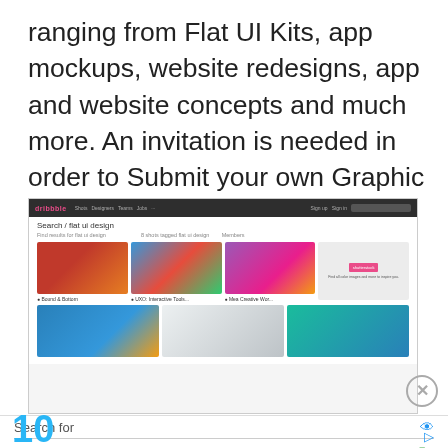ranging from Flat UI Kits, app mockups, website redesigns, app and website concepts and much more. An invitation is needed in order to Submit your own Graphic design projects on Dribble.
[Figure (screenshot): Screenshot of Dribbble website showing search results for 'flat ui design' with thumbnail grid of design projects and an advertisement for Shutterstock]
1.  TOP 10 INTERIOR DESIGNS
2.  GRAPHIC DESIGN TRAINING